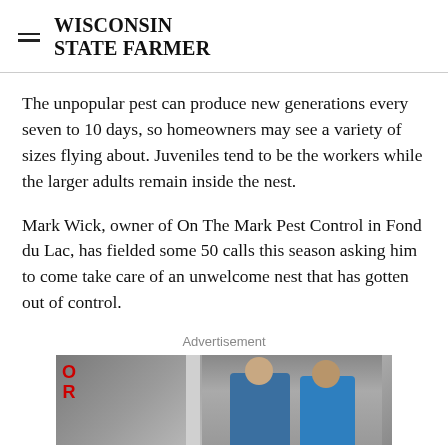WISCONSIN STATE FARMER
The unpopular pest can produce new generations every seven to 10 days, so homeowners may see a variety of sizes flying about. Juveniles tend to be the workers while the larger adults remain inside the nest.
Mark Wick, owner of On The Mark Pest Control in Fond du Lac, has fielded some 50 calls this season asking him to come take care of an unwelcome nest that has gotten out of control.
Advertisement
[Figure (photo): Advertisement image showing two people in blue shirts working together, with a pillar/column structure and red text on the left side, in an industrial or warehouse setting.]